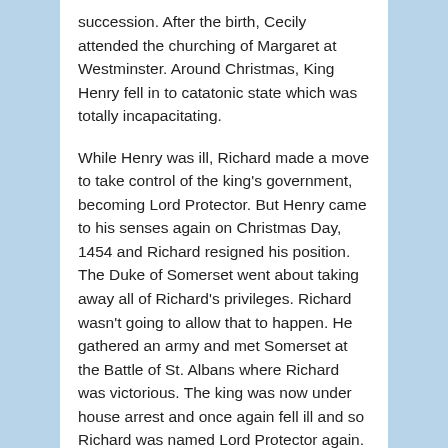succession. After the birth, Cecily attended the churching of Margaret at Westminster. Around Christmas, King Henry fell in to catatonic state which was totally incapacitating.
While Henry was ill, Richard made a move to take control of the king's government, becoming Lord Protector. But Henry came to his senses again on Christmas Day, 1454 and Richard resigned his position. The Duke of Somerset went about taking away all of Richard's privileges. Richard wasn't going to allow that to happen. He gathered an army and met Somerset at the Battle of St. Albans where Richard was victorious. The king was now under house arrest and once again fell ill and so Richard was named Lord Protector again. He also resigned a few months later. The Queen was in the ascendant and by 1459, Richard was threatened with attainder